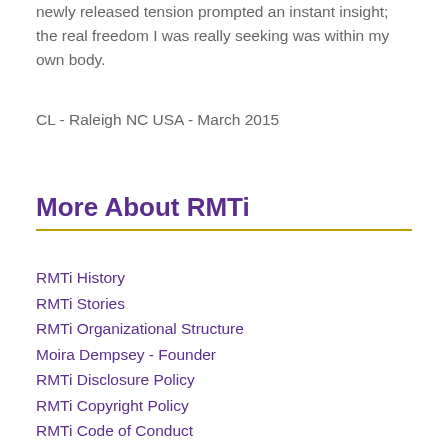newly released tension prompted an instant insight; the real freedom I was really seeking was within my own body.
CL - Raleigh NC USA - March 2015
More About RMTi
RMTi History
RMTi Stories
RMTi Organizational Structure
Moira Dempsey - Founder
RMTi Disclosure Policy
RMTi Copyright Policy
RMTi Code of Conduct
Privacy & Record Replacement Policies